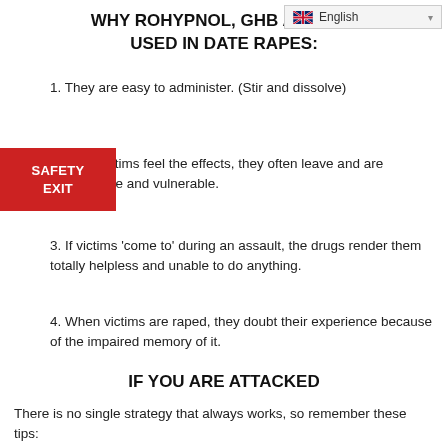WHY ROHYPNOL, GHB AND ARE USED IN DATE RAPES:
1. They are easy to administer. (Stir and dissolve)
2. When victims feel the effects, they often leave and are alone and vulnerable.
3. If victims 'come to' during an assault, the drugs render them totally helpless and unable to do anything.
4. When victims are raped, they doubt their experience because of the impaired memory of it.
IF YOU ARE ATTACKED
There is no single strategy that always works, so remember these tips: